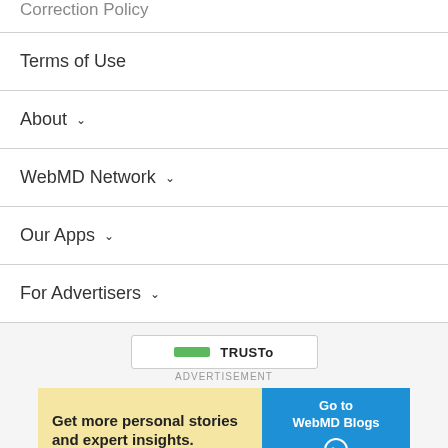Correction Policy
Terms of Use
About
WebMD Network
Our Apps
For Advertisers
ADVERTISEMENT
[Figure (logo): TRUSTe logo with green bar]
[Figure (infographic): Advertisement banner: 'Get more personal stories and expert insights.' with 'Go to WebMD Blogs' button]